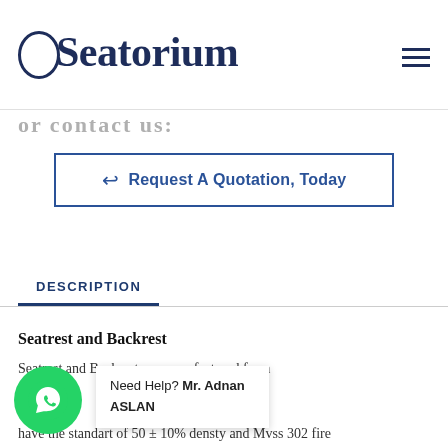Seatorium
Request A Quotation, Today
DESCRIPTION
Seatrest and Backrest
Seatrest and Backrest are manufactured from ... um molds which are ... uman anatomy and have the standart of 50 ± 10% densty and Mvss 302 fire
Need Help? Mr. Adnan ASLAN